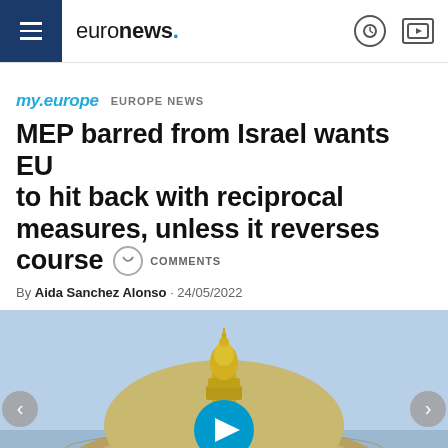euronews.
my.europe  EUROPE NEWS
MEP barred from Israel wants EU to hit back with reciprocal measures, unless it reverses course  COMMENTS
By Aida Sanchez Alonso · 24/05/2022
[Figure (photo): Dome of the Rock mosque with a golden minaret against a light blue sky; people holding a Palestinian flag at the base of the dome. A blue play button overlay is centered on the image.]